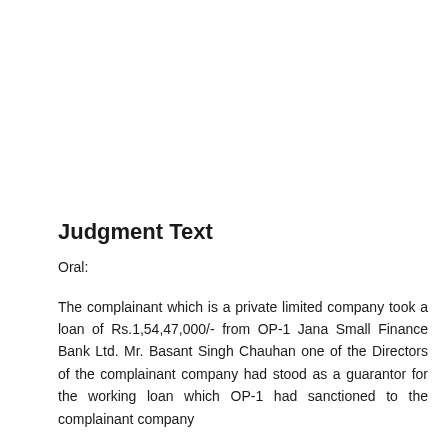Judgment Text
Oral:
The complainant which is a private limited company took a loan of Rs.1,54,47,000/- from OP-1 Jana Small Finance Bank Ltd. Mr. Basant Singh Chauhan one of the Directors of the complainant company had stood as a guarantor for the working loan which OP-1 had sanctioned to the complainant company